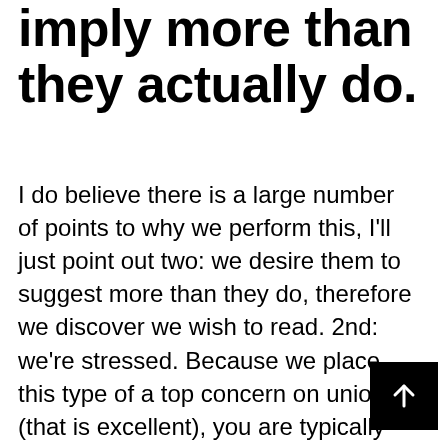imply more than they actually do.
I do believe there is a large number of points to why we perform this, I'll just point out two: we desire them to suggest more than they do, therefore we discover we wish to read. 2nd: we're stressed. Because we place this type of a top concern on union (that is excellent), you are typically rather anxious while in the online dating world. One aftereffect of this stress and anxiety is that it is not hard to get started on a difficult attachment. To fight this, you need to make positive your thoughts stay productive and involved with the procedure...